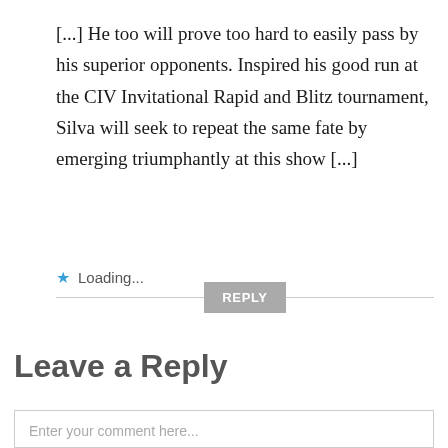[...] He too will prove too hard to easily pass by his superior opponents. Inspired his good run at the CIV Invitational Rapid and Blitz tournament, Silva will seek to repeat the same fate by emerging triumphantly at this show [...]
★ Loading...
REPLY
Leave a Reply
Enter your comment here...